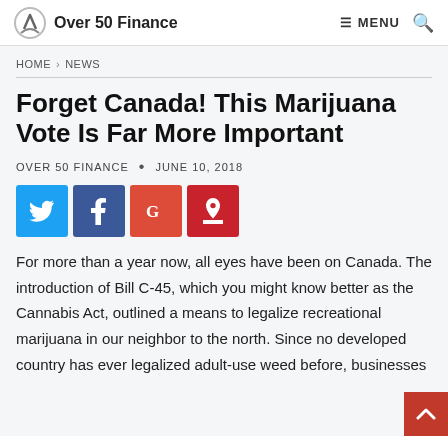Over 50 Finance | MENU [search]
HOME > NEWS
Forget Canada! This Marijuana Vote Is Far More Important
OVER 50 FINANCE • JUNE 10, 2018
[Figure (other): Social share buttons: Twitter, Facebook, Google+, Pinterest]
For more than a year now, all eyes have been on Canada. The introduction of Bill C-45, which you might know better as the Cannabis Act, outlined a means to legalize recreational marijuana in our neighbor to the north. Since no developed country has ever legalized adult-use weed before, businesses